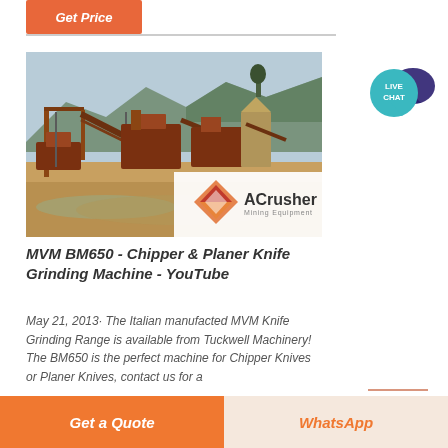Get Price
[Figure (photo): Mining/crushing equipment facility with conveyor belts and industrial machinery near a river, with ACrusher Mining Equipment logo overlay]
MVM BM650 - Chipper & Planer Knife Grinding Machine - YouTube
May 21, 2013· The Italian manufacted MVM Knife Grinding Range is available from Tuckwell Machinery! The BM650 is the perfect machine for Chipper Knives or Planer Knives, contact us for a
Get a Quote
WhatsApp